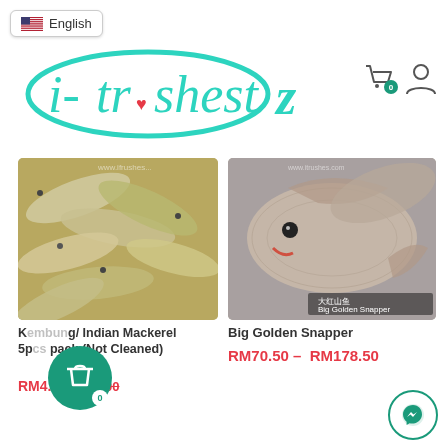[Figure (screenshot): i-Freshest online fish/seafood store screenshot showing two product listings: Kembung/Indian Mackerel 5pcs pack (Not Cleaned) at RM4.90 (was RM6.00), and Big Golden Snapper at RM70.50–RM178.50]
English
i-Froshestz
Kembung/ Indian Mackerel 5pcs pack (Not Cleaned)
RM4.90 RM6.00
Big Golden Snapper
RM70.50 – RM178.50